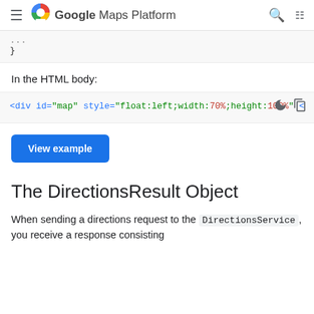Google Maps Platform
...  }
In the HTML body:
[Figure (screenshot): Code block showing HTML div elements: <div id="map" style="float:left;width:70%;height:100%" and <div id="directionsPanel" style="float:right;width:30%]
View example
The DirectionsResult Object
When sending a directions request to the DirectionsService, you receive a response consisting